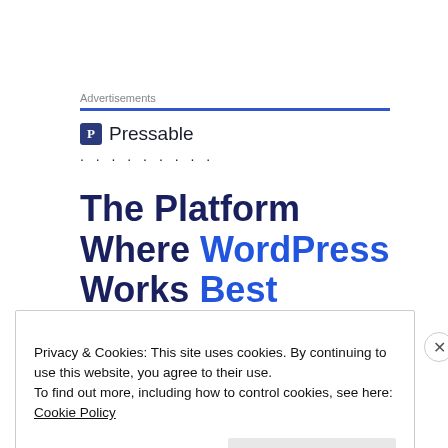Advertisements
[Figure (logo): Pressable logo with blue square icon containing letter P and text 'Pressable']
· · · · · · · · ·
The Platform Where WordPress Works Best
Privacy & Cookies: This site uses cookies. By continuing to use this website, you agree to their use.
To find out more, including how to control cookies, see here: Cookie Policy
Close and accept